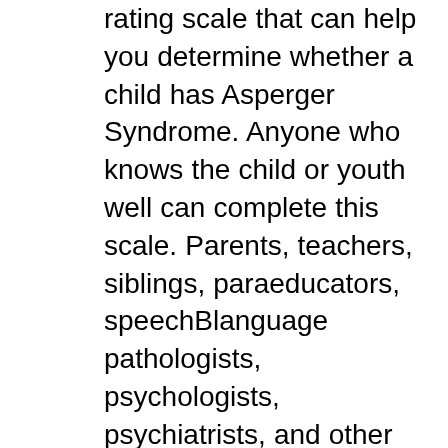rating scale that can help you determine whether a child has Asperger Syndrome. Anyone who knows the child or youth well can complete this scale. Parents, teachers, siblings, paraeducators, speechBlanguage pathologists, psychologists, psychiatrists, and other professionals can answer the 50 yes/no items in 10 to 15 вЂ¦ The Ritvo Autism Asperger Diagnostic Scale-Revised (RAADS-R) Scores with a yellow background are above the test threshold values. If your total score is above the threshold it may be worth getting professionally assessed. Total score Language Social relatedness Sensory/motor Circumscribed interests Test taken by